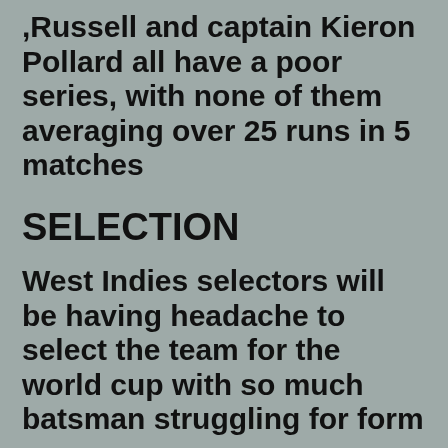,Russell and captain Kieron Pollard all have a poor series, with none of them averaging over 25 runs in 5 matches
SELECTION
West Indies selectors will be having headache to select the team for the world cup with so much batsman struggling for form